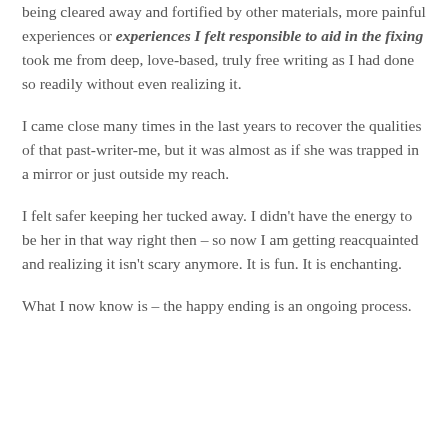being cleared away and fortified by other materials, more painful experiences or experiences I felt responsible to aid in the fixing took me from deep, love-based, truly free writing as I had done so readily without even realizing it.
I came close many times in the last years to recover the qualities of that past-writer-me, but it was almost as if she was trapped in a mirror or just outside my reach.
I felt safer keeping her tucked away. I didn't have the energy to be her in that way right then – so now I am getting reacquainted and realizing it isn't scary anymore. It is fun. It is enchanting.
What I now know is – the happy ending is an ongoing process.